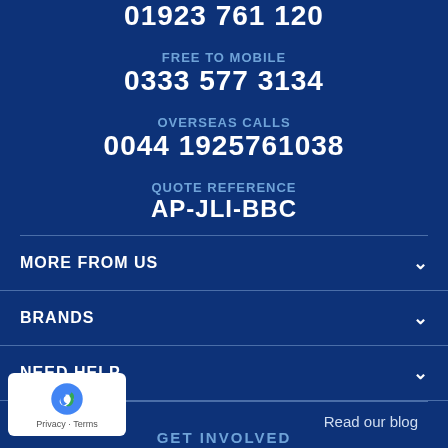01923 761 120
FREE TO MOBILE
0333 577 3134
OVERSEAS CALLS
0044 1925761038
QUOTE REFERENCE
AP-JLI-BBC
MORE FROM US
BRANDS
NEED HELP
GET INVOLVED
Read our blog